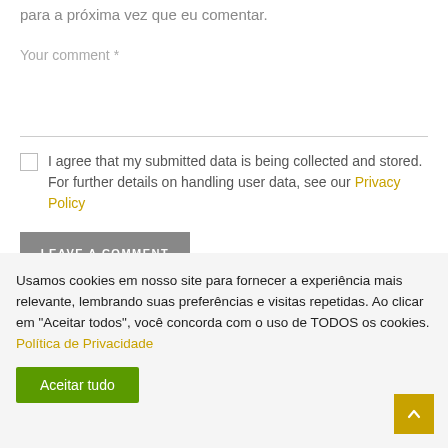para a próxima vez que eu comentar.
Your comment *
I agree that my submitted data is being collected and stored. For further details on handling user data, see our Privacy Policy
LEAVE A COMMENT
Usamos cookies em nosso site para fornecer a experiência mais relevante, lembrando suas preferências e visitas repetidas. Ao clicar em "Aceitar todos", você concorda com o uso de TODOS os cookies. Política de Privacidade
Aceitar tudo